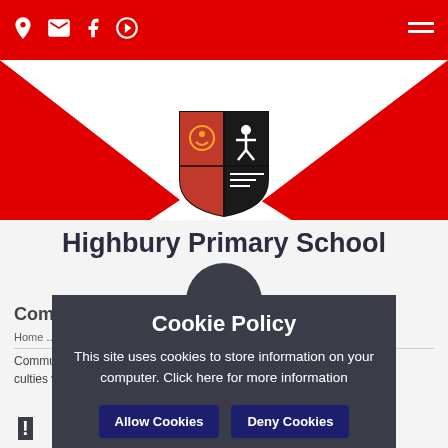Highbury Primary School — navigation bar with location, mail, Facebook, YouTube icons and hamburger menu
[Figure (logo): Highbury Primary School shield crest logo — red and black divided shield with face symbol on left and figure on right]
Highbury Primary School
Communication and Language
Home ... Language
Communication strategies, activities and Dyslexia with
Cookie Policy
This site uses cookies to store information on your computer. Click here for more information
Allow Cookies   Deny Cookies